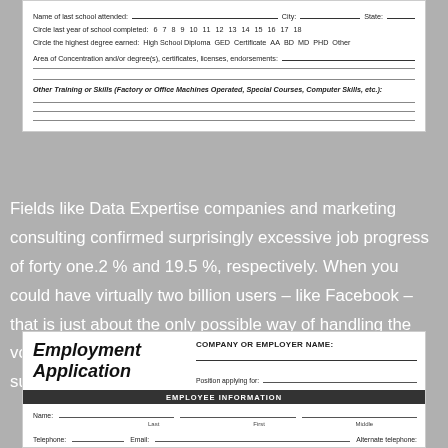[Figure (screenshot): Top portion of a paper application form showing school/education fields: Name of last school attended, City, State, Circle last year of school completed (6-18), Circle the highest degree earned (High School Diploma GED Certificate AA BD MD PHD Other), Area of Concentration and/or degree(s) certificates licenses endorsements, Other Training or Skills section with blank lines.]
Fields like Data Expertise companies and marketing consulting confirmed surprisingly excessive job progress of forty one.2 % and 19.5 %, respectively. When you could have virtually two billion users – like Facebook – that is just about the only possible way of handling the volume, but it surely does imply sacrificing customer support for all but the most serious complaints.
[Figure (screenshot): Bottom portion of an Employment Application form showing company or employer name field, Position applying for field, Employee Information section header, Name fields (Last, First, Middle), Telephone, Email, and Alternate telephone fields.]